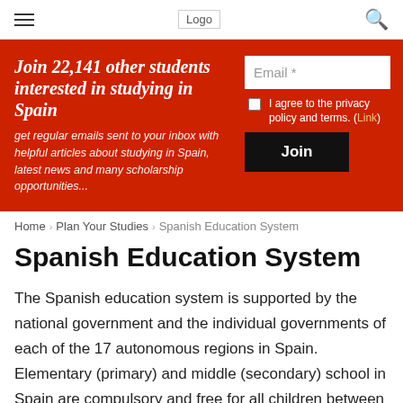Logo
Join 22,141 other students interested in studying in Spain
get regular emails sent to your inbox with helpful articles about studying in Spain, latest news and many scholarship opportunities...
Email *
I agree to the privacy policy and terms. (Link)
Join
Home › Plan Your Studies › Spanish Education System
Spanish Education System
The Spanish education system is supported by the national government and the individual governments of each of the 17 autonomous regions in Spain. Elementary (primary) and middle (secondary) school in Spain are compulsory and free for all children between the ages of 6 to 16. After finishing